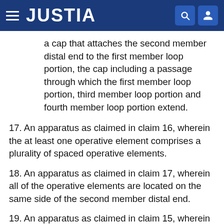JUSTIA
a cap that attaches the second member distal end to the first member loop portion, the cap including a passage through which the first member loop portion, third member loop portion and fourth member loop portion extend.
17. An apparatus as claimed in claim 16, wherein the at least one operative element comprises a plurality of spaced operative elements.
18. An apparatus as claimed in claim 17, wherein all of the operative elements are located on the same side of the second member distal end.
19. An apparatus as claimed in claim 15, wherein the first, third and fourth members comprise first, third and fourth splines.